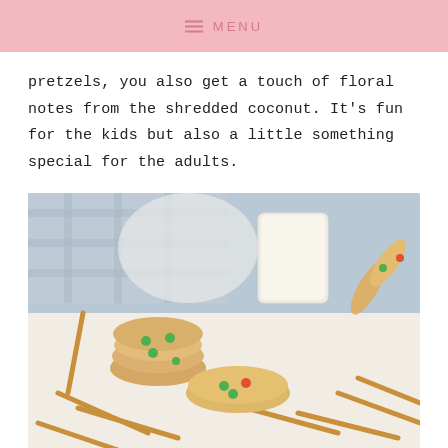MENU
pretzels, you also get a touch of floral notes from the shredded coconut. It's fun for the kids but also a little something special for the adults.
[Figure (photo): Cookies with M&Ms and pretzel sticks arranged on a white surface, with a glass of milk and a plaid cloth in the background]